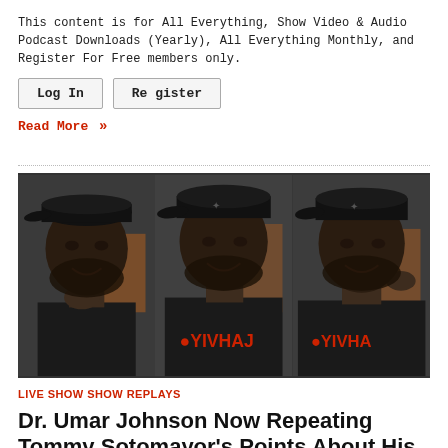This content is for All Everything, Show Video & Audio Podcast Downloads (Yearly), All Everything Monthly, and Register For Free members only.
Log In   Register
Read More »
[Figure (photo): Three side-by-side video stills of a large Black man wearing a black cap and black hoodie with colorful text, appearing to be speaking or reacting emotionally.]
LIVE SHOW SHOW REPLAYS
Dr. Umar Johnson Now Repeating Tommy Sotomayor's Points About His So Called